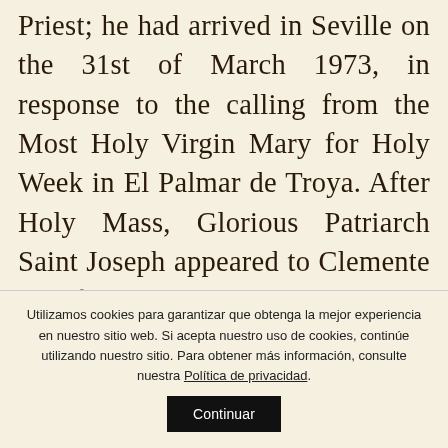Priest; he had arrived in Seville on the 31st of March 1973, in response to the calling from the Most Holy Virgin Mary for Holy Week in El Palmar de Troya. After Holy Mass, Glorious Patriarch Saint Joseph appeared to Clemente Domínguez and gave him the following Message:)
Utilizamos cookies para garantizar que obtenga la mejor experiencia en nuestro sitio web. Si acepta nuestro uso de cookies, continúe utilizando nuestro sitio. Para obtener más información, consulte nuestra Política de privacidad. Continuar